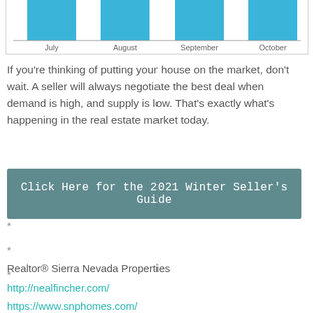[Figure (bar-chart): Monthly bar chart]
If you're thinking of putting your house on the market, don't wait. A seller will always negotiate the best deal when demand is high, and supply is low. That's exactly what's happening in the real estate market today.
Click Here for the 2021 Winter Seller's Guide
*
*
*
Realtor® Sierra Nevada Properties
http://nealfincher.com/
https://www.snphomes.com/